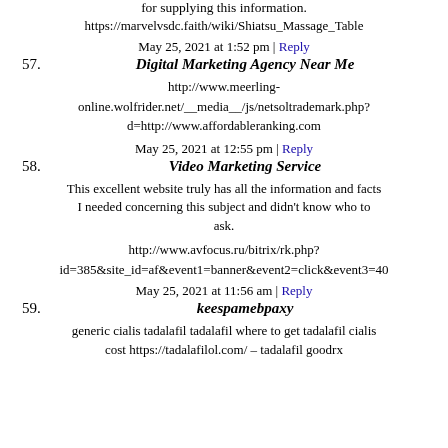for supplying this information.
https://marvelvsdc.faith/wiki/Shiatsu_Massage_Table
May 25, 2021 at 1:52 pm | Reply
57. Digital Marketing Agency Near Me
http://www.meerling-online.wolfrider.net/__media__/js/netsoltrademark.php?d=http://www.affordableranking.com
May 25, 2021 at 12:55 pm | Reply
58. Video Marketing Service
This excellent website truly has all the information and facts I needed concerning this subject and didn't know who to ask.
http://www.avfocus.ru/bitrix/rk.php?id=385&site_id=af&event1=banner&event2=click&event3=40
May 25, 2021 at 11:56 am | Reply
59. keespamebpaxy
generic cialis tadalafil tadalafil where to get tadalafil cialis cost https://tadalafilol.com/ – tadalafil goodrx